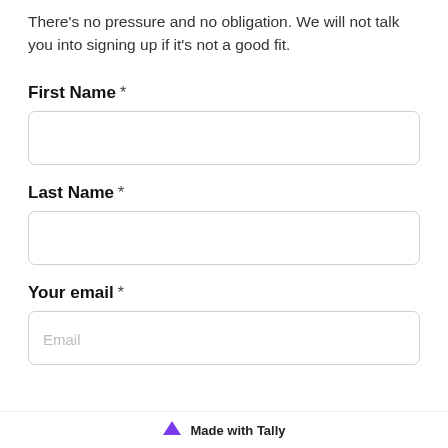There's no pressure and no obligation. We will not talk you into signing up if it's not a good fit.
First Name *
Last Name *
Your email *
Made with Tally